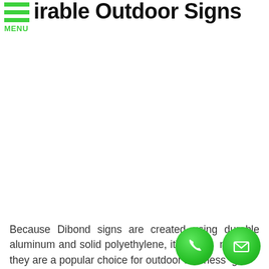irable Outdoor Signs
Because Dibond signs are created using durable aluminum and solid polyethylene, it's no wonder that they are a popular choice for outdoor business age...